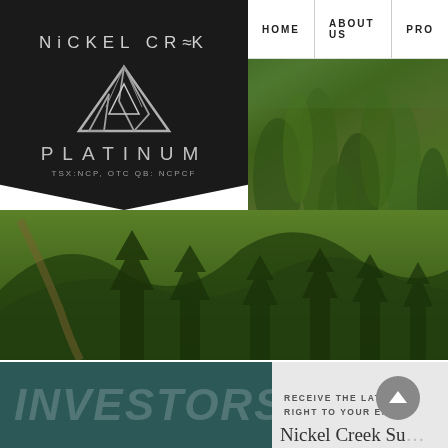[Figure (logo): Nickel Creek Platinum logo on dark background with silver triangular mountain graphic. Text: NICKEL CREEK PLATINUM, TSX:NCP, OTC QB: NCPCF]
HOME    ABOUT US    PRO
[Figure (photo): Aerial landscape photograph of a mountain forest with winding dirt road/path through dense green conifer trees]
INVESTORS
RECEIVE THE LATEST NEWS RIGHT TO YOUR EMAIL
Nickel Creek Su…